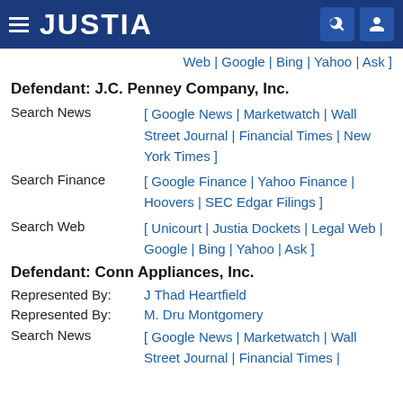JUSTIA
[ Web | Google | Bing | Yahoo | Ask ]
Defendant: J.C. Penney Company, Inc.
Search News [ Google News | Marketwatch | Wall Street Journal | Financial Times | New York Times ]
Search Finance [ Google Finance | Yahoo Finance | Hoovers | SEC Edgar Filings ]
Search Web [ Unicourt | Justia Dockets | Legal Web | Google | Bing | Yahoo | Ask ]
Defendant: Conn Appliances, Inc.
Represented By: J Thad Heartfield
Represented By: M. Dru Montgomery
Search News [ Google News | Marketwatch | Wall Street Journal | Financial Times |